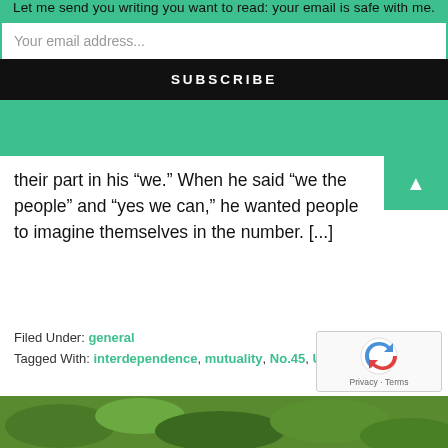Let me send you writing you want to read: your email is safe with me.
Your email address...
SUBSCRIBE
their part in his “we.” When he said “we the people” and “yes we can,” he wanted people to imagine themselves in the number. [...]
Filed Under: general
Tagged With: interdependence, mutuality, No.45, US politics
[Figure (photo): Green foliage / nature photo strip at the bottom of the page]